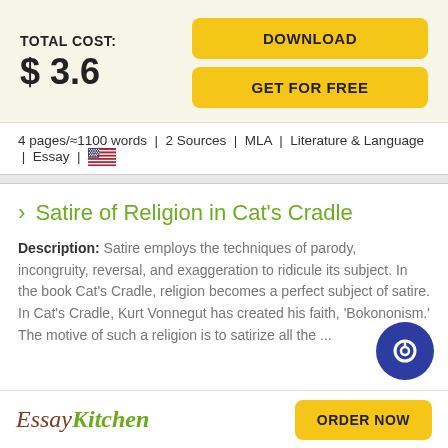TOTAL COST: $ 3.6
DOWNLOAD
GET FOR FREE
4 pages/≈1100 words | 2 Sources | MLA | Literature & Language | Essay | 🇺🇸
Satire of Religion in Cat's Cradle
Description: Satire employs the techniques of parody, incongruity, reversal, and exaggeration to ridicule its subject. In the book Cat's Cradle, religion becomes a perfect subject of satire. In Cat's Cradle, Kurt Vonnegut has created his faith, 'Bokononism.' The motive of such a religion is to satirize all the ...
EssayKitchen
ORDER NOW